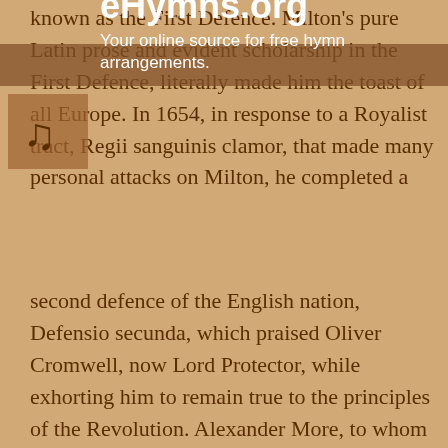known as the First Defence. Milton's pure Latin prose and evident scholarship in the First Defence, literally made him the toast of all Europe. In 1654, in response to a Royalist tract, Regii sanguinis clamor, that made many personal attacks on Milton, he completed a second defence of the English nation, Defensio secunda, which praised Oliver Cromwell, now Lord Protector, while exhorting him to remain true to the principles of the Revolution. Alexander More, to whom Milton wrongly attributed the Clamor, published an attack on Milton, in response to which Milton published the autobiographical Defensio pro se in 1655. In addition to these literary defences of the Commonwealth and his character, Milton continued to translate official correspondence into Latin. The probable onset of glaucoma finally resulted by 1654 in total blindness, forcing him to dictate his verse and prose to amanuenses, one of whom was the poet Andrew Marvell.
[Figure (logo): eHymns.org logo with music note icon and text: 'Your online source for free hymn arrangements.']